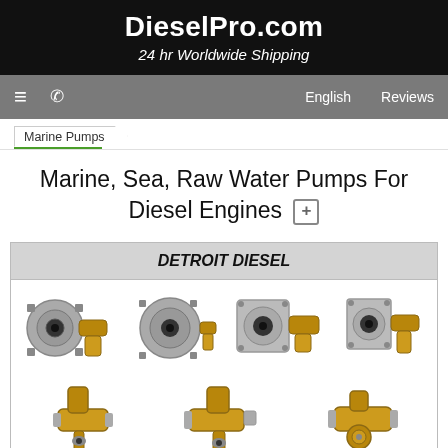DieselPro.com
24 hr Worldwide Shipping
≡  📞  English  Reviews
Marine Pumps
Marine, Sea, Raw Water Pumps For Diesel Engines
[Figure (photo): Grid of 7 brass/bronze marine raw water pumps for Detroit Diesel engines, showing various sizes and configurations with flanges and fittings]
DETROIT DIESEL